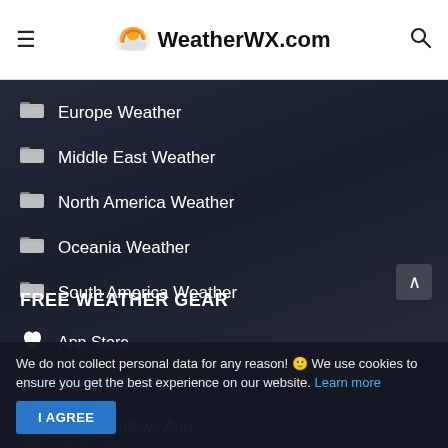WeatherWX.com
Europe Weather
Middle East Weather
North America Weather
Oceania Weather
South America Weather
FREE WEATHER GEAR
App Store
Google Play
Free Windows App
We do not collect personal data for any reason! 🙂 We use cookies to ensure you get the best experience on our website. Learn more
I AGREE